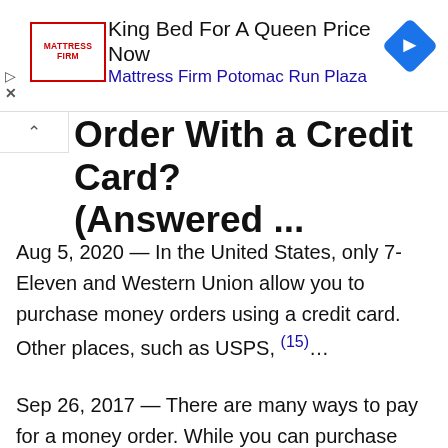[Figure (other): Mattress Firm advertisement banner: King Bed For A Queen Price Now, Mattress Firm Potomac Run Plaza, with logo and navigation arrow icon]
Order With a Credit Card? (Answered ...
Aug 5, 2020 — In the United States, only 7-Eleven and Western Union allow you to purchase money orders using a credit card. Other places, such as USPS, (15)...
Sep 26, 2017 — There are many ways to pay for a money order. While you can purchase one using a credit card, doing so may not be the best idea. For